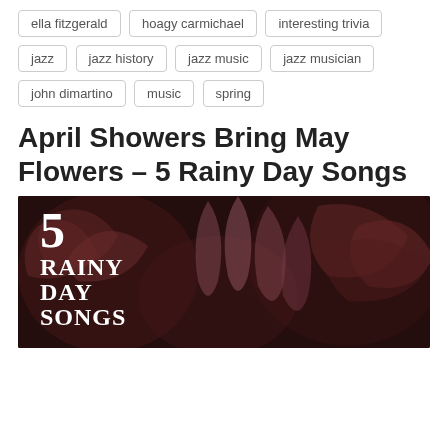ella fitzgerald
hoagy carmichael
interesting trivia
jazz
jazz history
jazz music
jazz musician
john dimartino
music
spring
April Showers Bring May Flowers – 5 Rainy Day Songs
[Figure (photo): Dark moody image of wilted pink flowers with text overlay reading '5 RAINY DAY SONGS']